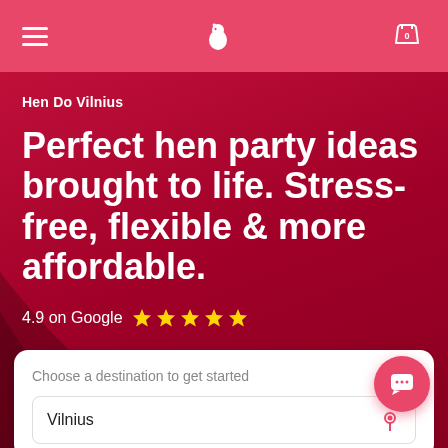Hen Do Vilnius navigation bar
Hen Do Vilnius
Perfect hen party ideas brought to life. Stress-free, flexible & more affordable.
4.9 on Google ★★★★★
Choose a destination to get started
Vilnius